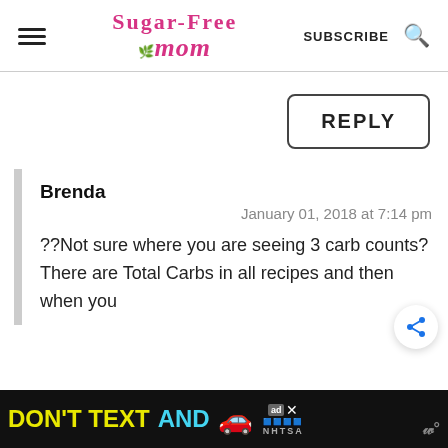Sugar-Free Mom | SUBSCRIBE
REPLY
Brenda
January 01, 2018 at 7:14 pm
??Not sure where you are seeing 3 carb counts? There are Total Carbs in all recipes and then when you
[Figure (screenshot): Advertisement banner at bottom: DON'T TEXT AND [car emoji] with NHTSA logo on dark background]